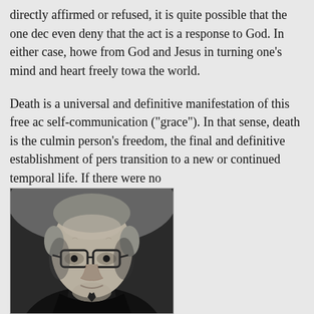directly affirmed or refused, it is quite possible that the one dec even deny that the act is a response to God. In either case, howe from God and Jesus in turning one's mind and heart freely towa the world.
Death is a universal and definitive manifestation of this free ac self-communication ("grace"). In that sense, death is the culmin person's freedom, the final and definitive establishment of pers transition to a new or continued temporal life. If there were no
[Figure (photo): Black and white portrait photograph of an elderly man wearing glasses, with short grey hair, looking slightly downward. The photo is formal and appears to be of a scholar or theologian.]